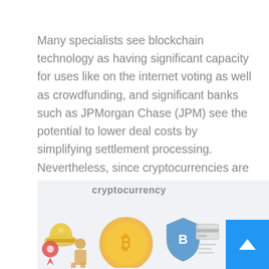Many specialists see blockchain technology as having significant capacity for uses like on the internet voting as well as crowdfunding, and significant banks such as JPMorgan Chase (JPM) see the potential to lower deal costs by simplifying settlement processing. Nevertheless, since cryptocurrencies are online as well as are not kept on a main data source, a digital cryptocurrency equilibrium can be cleaned out by the loss or damage of a hard disk if a back-up duplicate of the personal trick does not exist.
[Figure (infographic): Cryptocurrency infographic showing the word 'cryptocurrency' at top with various icons below including a hard hat, location pin, Bitcoin coin, shield with B logo, credit card, and other cryptocurrency-related symbols on a light gray background. A blue back-to-top button with an upward arrow is in the bottom right.]